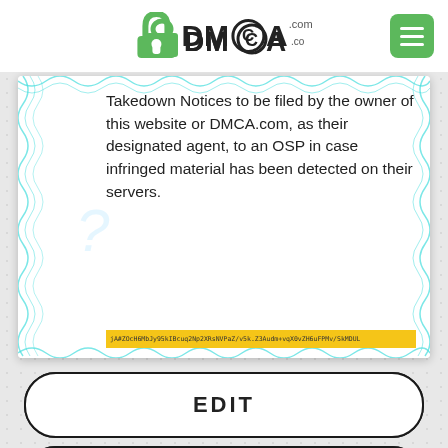[Figure (logo): DMCA.com logo with padlock icon]
Takedown Notices to be filed by the owner of this website or DMCA.com, as their designated agent, to an OSP in case infringed material has been detected on their servers.
EDIT
ADD AN ITEM
REPROCESS